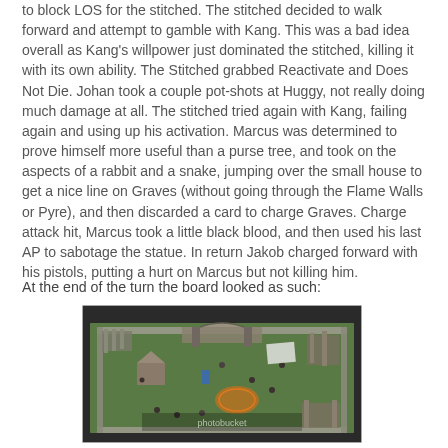to block LOS for the stitched. The stitched decided to walk forward and attempt to gamble with Kang. This was a bad idea overall as Kang's willpower just dominated the stitched, killing it with its own ability. The Stitched grabbed Reactivate and Does Not Die. Johan took a couple pot-shots at Huggy, not really doing much damage at all. The stitched tried again with Kang, failing again and using up his activation. Marcus was determined to prove himself more useful than a purse tree, and took on the aspects of a rabbit and a snake, jumping over the small house to get a nice line on Graves (without going through the Flame Walls or Pyre), and then discarded a card to charge Graves. Charge attack hit, Marcus took a little black blood, and then used his last AP to sabotage the statue. In return Jakob charged forward with his pistols, putting a hurt on Marcus but not killing him.
At the end of the turn the board looked as such:
[Figure (photo): Aerial view of a tabletop miniature wargame board showing a walled courtyard with various miniature figures, terrain pieces including ruins, a small house, and what appears to be a circular marker on a green gaming mat.]